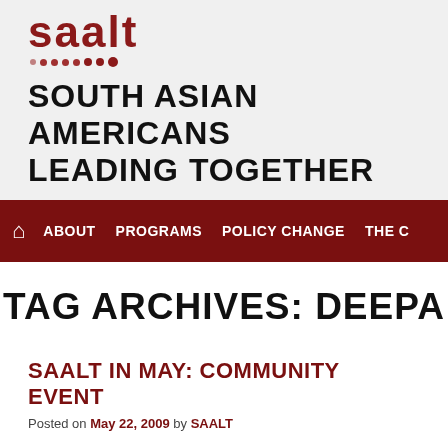saalt
SOUTH ASIAN AMERICANS LEADING TOGETHER
Home ABOUT PROGRAMS POLICY CHANGE THE C
TAG ARCHIVES: DEEPA
SAALT IN MAY: COMMUNITY EVENT
Posted on May 22, 2009 by SAALT